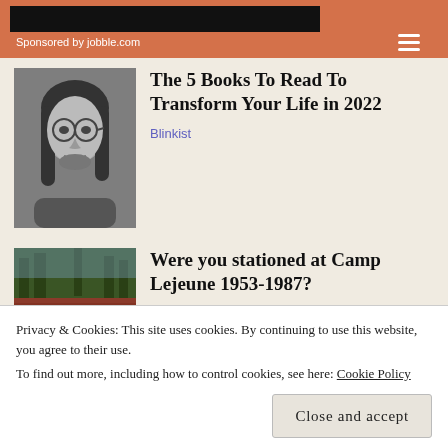Sponsored by jobble.com
[Figure (photo): Black and white portrait photo of a young man with long hair and round glasses]
The 5 Books To Read To Transform Your Life in 2022
Blinkist
[Figure (photo): Color photo of Camp Lejeune entrance sign reading CAMP LEJEUNE HOME OF EXPEDITIONARY FORCES IN READINESS with trees in background]
Were you stationed at Camp Lejeune 1953-1987?
Camp Lejeune Lawsuit Settlement
Privacy & Cookies: This site uses cookies. By continuing to use this website, you agree to their use.
To find out more, including how to control cookies, see here: Cookie Policy
Close and accept